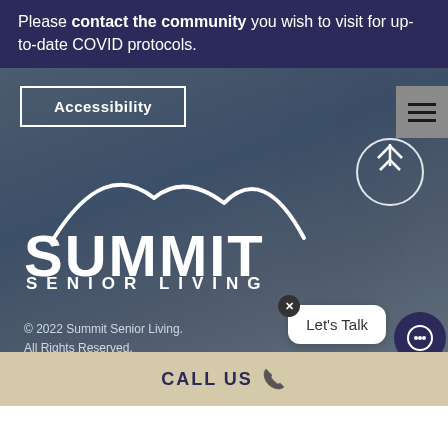Please contact the community you wish to visit for up-to-date COVID protocols.
Accessibility
[Figure (logo): Summit Senior Living logo — white mountain silhouette above text 'SUMMIT SENIOR LIVING']
© 2022 Summit Senior Living. All Rights Reserved. Equal Housing Opportunity. Privacy Policy
Let's Talk
CALL US